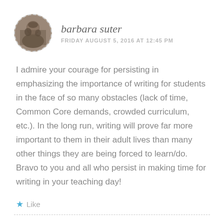[Figure (photo): Circular avatar photo of user barbara suter, with dashed border]
barbara suter
FRIDAY AUGUST 5, 2016 AT 12:45 PM
I admire your courage for persisting in emphasizing the importance of writing for students in the face of so many obstacles (lack of time, Common Core demands, crowded curriculum, etc.). In the long run, writing will prove far more important to them in their adult lives than many other things they are being forced to learn/do. Bravo to you and all who persist in making time for writing in your teaching day!
Like